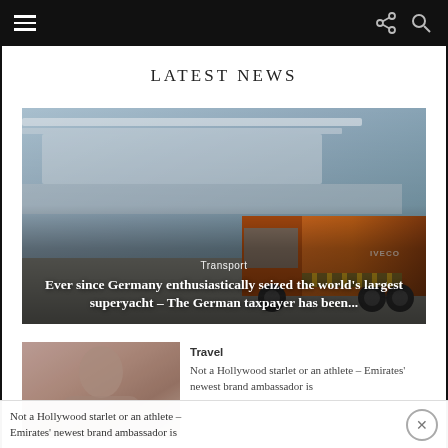LATEST NEWS
[Figure (photo): Composite image of a large white superyacht docked at port and an orange IVECO truck in the foreground]
Transport
Ever since Germany enthusiastically seized the world's largest superyacht – The German taxpayer has been...
[Figure (photo): Photo of a woman, partially visible, related to Travel article]
Travel
Not a Hollywood starlet or an athlete – Emirates' newest brand ambassador is
Not a Hollywood starlet or an athlete – Emirates' newest brand ambassador is